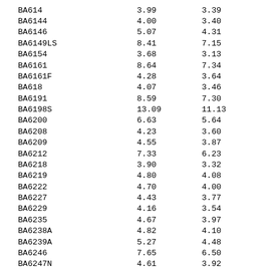| BA614 | 3.99 | 3.39 |
| BA6144 | 4.00 | 3.40 |
| BA6146 | 5.07 | 4.31 |
| BA6149LS | 8.41 | 7.15 |
| BA6154 | 3.68 | 3.13 |
| BA6161 | 8.64 | 7.34 |
| BA6161F | 4.28 | 3.64 |
| BA618 | 4.07 | 3.46 |
| BA6191 | 8.59 | 7.30 |
| BA6198S | 13.09 | 11.13 |
| BA6200 | 6.63 | 5.64 |
| BA6208 | 4.23 | 3.60 |
| BA6209 | 4.55 | 3.87 |
| BA6212 | 7.33 | 6.23 |
| BA6218 | 3.90 | 3.32 |
| BA6219 | 4.80 | 4.08 |
| BA6222 | 4.70 | 4.00 |
| BA6227 | 4.43 | 3.77 |
| BA6229 | 4.16 | 3.54 |
| BA6235 | 4.67 | 3.97 |
| BA6238A | 4.82 | 4.10 |
| BA6239A | 5.27 | 4.48 |
| BA6246 | 7.65 | 6.50 |
| BA6247N | 4.61 | 3.92 |